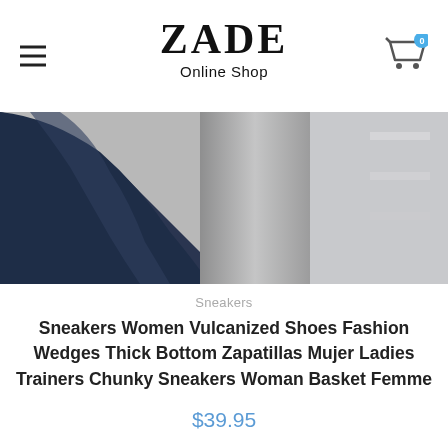ZADE Online Shop
[Figure (photo): Product photo partial view showing a navy blue sleeve/clothing item against a metallic/grey background]
Sneakers
Sneakers Women Vulcanized Shoes Fashion Wedges Thick Bottom Zapatillas Mujer Ladies Trainers Chunky Sneakers Woman Basket Femme
$39.95